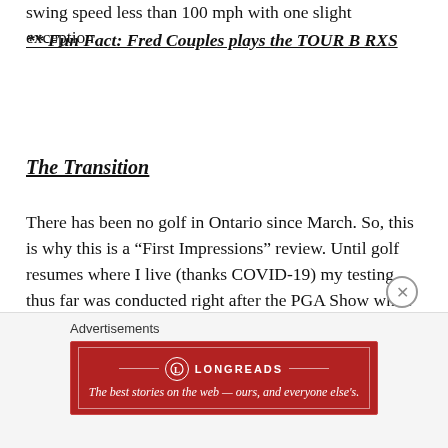swing speed less than 100 mph with one slight exception.
** Fun Fact: Fred Couples plays the TOUR B RXS
The Transition
There has been no golf in Ontario since March. So, this is why this is a “First Impressions” review. Until golf resumes where I live (thanks COVID-19) my testing thus far was conducted right after the PGA Show while I was still down in Florida.
Advertisements
[Figure (infographic): Longreads advertisement banner: red background with Longreads logo and tagline 'The best stories on the web — ours, and everyone else’s.']